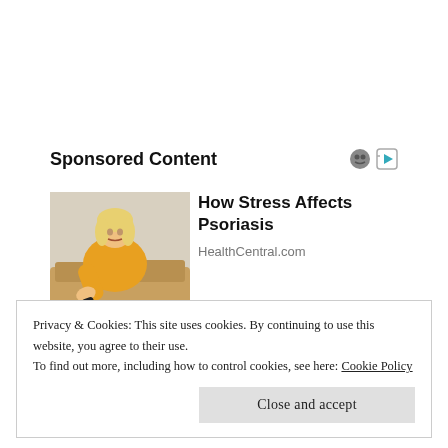Sponsored Content
[Figure (photo): Woman in yellow sweater looking at her arm, sitting on a couch]
How Stress Affects Psoriasis
HealthCentral.com
Privacy & Cookies: This site uses cookies. By continuing to use this website, you agree to their use.
To find out more, including how to control cookies, see here: Cookie Policy
Close and accept